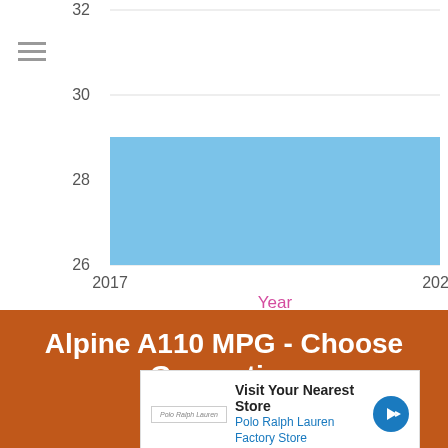[Figure (area-chart): Area chart showing Alpine A110 MPG from 2017 to 2022, filled light blue, y-axis ranging from 26 to 32]
Alpine A110 MPG - Choose Generation
[Figure (screenshot): Advertisement overlay: Visit Your Nearest Store - Polo Ralph Lauren Factory Store with navigation icon]